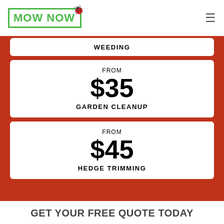[Figure (logo): MowNow logo with green border and ladybug icon]
WEEDING
FROM
$35
GARDEN CLEANUP
FROM
$45
HEDGE TRIMMING
GET YOUR FREE QUOTE TODAY